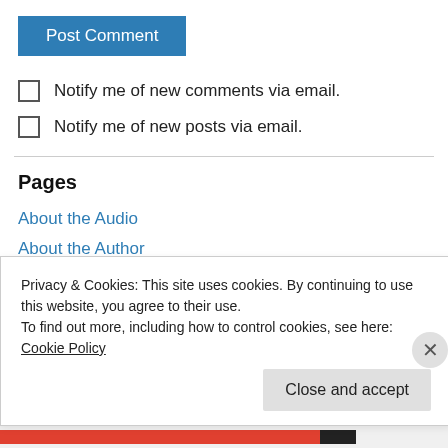Post Comment
Notify me of new comments via email.
Notify me of new posts via email.
Pages
About the Audio
About the Author
About the Prayers
Contact
Privacy & Cookies: This site uses cookies. By continuing to use this website, you agree to their use.
To find out more, including how to control cookies, see here: Cookie Policy
Close and accept